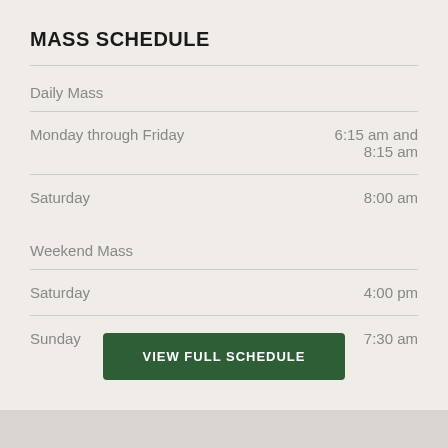MASS SCHEDULE
|  |  |
| --- | --- |
| Daily Mass |  |
| Monday through Friday | 6:15 am and 8:15 am |
| Saturday | 8:00 am |
| Weekend Mass |  |
| Saturday | 4:00 pm |
| Sunday | 7:30 am |
VIEW FULL SCHEDULE